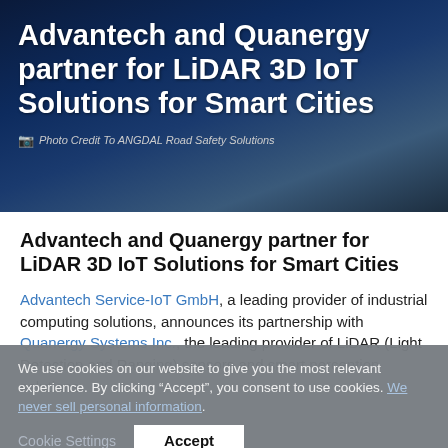[Figure (photo): Dark blue cityscape hero banner background with network/tech overlay pattern]
Advantech and Quanergy partner for LiDAR 3D IoT Solutions for Smart Cities
Photo Credit To ANGDAL Road Safety Solutions
Advantech and Quanergy partner for LiDAR 3D IoT Solutions for Smart Cities
Advantech Service-IoT GmbH, a leading provider of industrial computing solutions, announces its partnership with Quanergy Systems Inc., the leading provider of LiDAR (Light Detection and Ranging) sensors and smart perception solutions.
We use cookies on our website to give you the most relevant experience. By clicking “Accept”, you consent to use cookies. We never sell personal information.